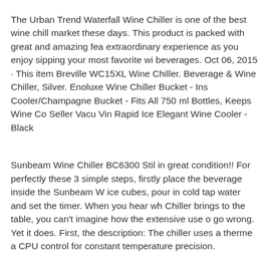The Urban Trend Waterfall Wine Chiller is one of the best wine chillers on the market these days. This product is packed with great and amazing features for an extraordinary experience as you enjoy sipping your most favorite wine or other beverages. Oct 06, 2015 · This item Breville WC15XL Wine Chiller. Beverage & Wine Chiller, Silver. Enoluxe Wine Chiller Bucket - Insulated Wine Cooler/Champagne Bucket - Fits All 750 ml Bottles, Keeps Wine Co... Best Seller Vacu Vin Rapid Ice Elegant Wine Cooler - Black
Sunbeam Wine Chiller BC6300 Stil in great condition!! For perfectly these 3 simple steps, firstly place the beverage inside the Sunbeam Wine Chiller, ice cubes, pour in cold tap water and set the timer. When you hear what the Wine Chiller brings to the table, you can't imagine how the extensive use of it could go wrong. Yet it does. First, the description: The chiller uses a thermoelectric and a CPU control for constant temperature precision.
The Breville® Wine Chiller – 7 minutes and no ice gives you the perfect chill, fast and easy with no mess. A. Stainless Steal Rim. B. 15 Minute Timer with Alarm. C. Battery Operation. D. Removable Cord. E. Manual Setting. F. Agitator.